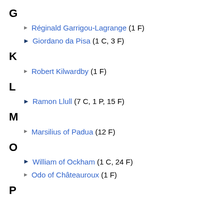G
Réginald Garrigou-Lagrange (1 F)
Giordano da Pisa (1 C, 3 F)
K
Robert Kilwardby (1 F)
L
Ramon Llull (7 C, 1 P, 15 F)
M
Marsilius of Padua (12 F)
O
William of Ockham (1 C, 24 F)
Odo of Châteauroux (1 F)
P